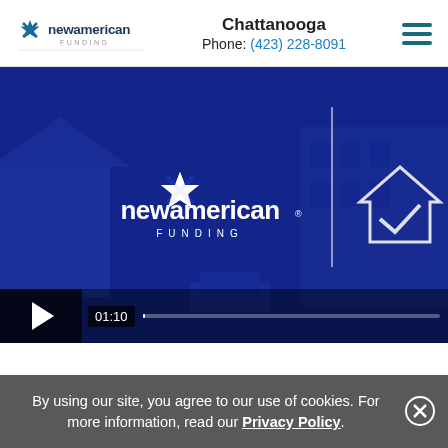[Figure (logo): New American Funding logo — star icon with 'newamerican FUNDING' text in dark blue]
Chattanooga
Phone: (423) 228-8091
[Figure (screenshot): Video thumbnail showing New American Funding logo on blue background with house imagery; video player controls showing timecode 01:10 and progress bar at start]
By using our site, you agree to our use of cookies. For more information, read our Privacy Policy .